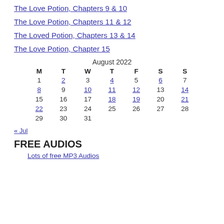The Love Potion, Chapters 9 & 10
The Love Potion, Chapters 11 & 12
The Loved Potion, Chapters 13 & 14
The Love Potion, Chapter 15
| M | T | W | T | F | S | S |
| --- | --- | --- | --- | --- | --- | --- |
| 1 | 2 | 3 | 4 | 5 | 6 | 7 |
| 8 | 9 | 10 | 11 | 12 | 13 | 14 |
| 15 | 16 | 17 | 18 | 19 | 20 | 21 |
| 22 | 23 | 24 | 25 | 26 | 27 | 28 |
| 29 | 30 | 31 |  |  |  |  |
« Jul
FREE AUDIOS
Lots of free MP3 Audios